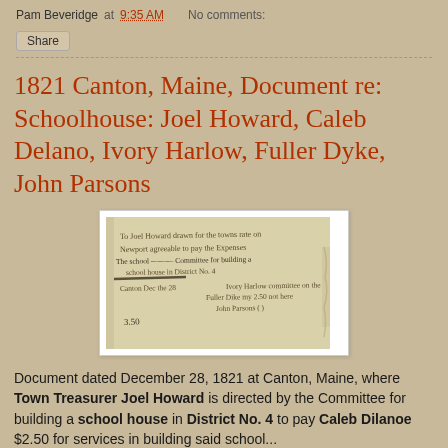Pam Beveridge at 9:35 AM   No comments:
Share
1821 Canton, Maine, Document re: Schoolhouse: Joel Howard, Caleb Delano, Ivory Harlow, Fuller Dyke, John Parsons
[Figure (photo): Photograph of a handwritten historical document from 1821, showing cursive script on aged paper]
Document dated December 28, 1821 at Canton, Maine, where Town Treasurer Joel Howard is directed by the Committee for building a school house in District No. 4 to pay Caleb Dilanoe $2.50 for services in building said school...